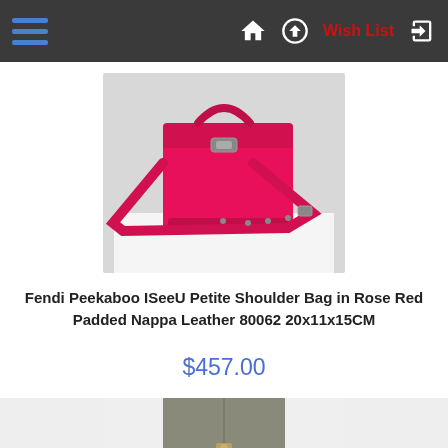Navigation bar with hamburger menu, home icon, upload icon, Wish List, and login arrow
[Figure (photo): Fendi Peekaboo ISeeU Petite shoulder bag in rose red / hot pink padded Nappa leather, with silver hardware and crossbody strap, displayed on a white surface]
Fendi Peekaboo ISeeU Petite Shoulder Bag in Rose Red Padded Nappa Leather 80062 20x11x15CM
$457.00
[Figure (photo): Second product image partially visible — appears to be a gray/taupe colored handbag, partially cropped at bottom of page]